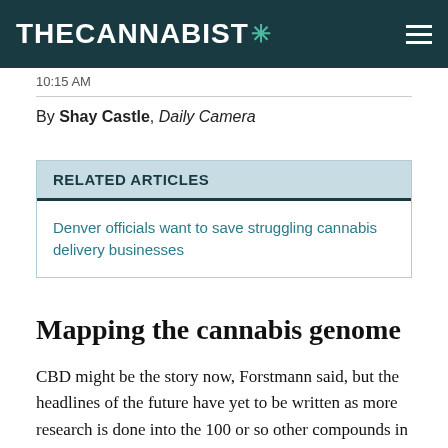THE CANNABIST
10:15 AM
By Shay Castle, Daily Camera
RELATED ARTICLES
Denver officials want to save struggling cannabis delivery businesses
Mapping the cannabis genome
CBD might be the story now, Forstmann said, but the headlines of the future have yet to be written as more research is done into the 100 or so other compounds in the canna sativa plant, each with potential benefits of its own.